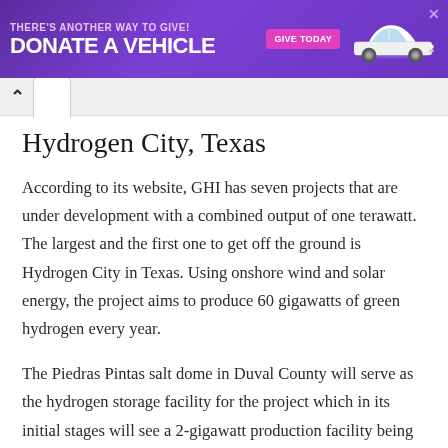[Figure (other): Advertisement banner with purple background showing 'THERE'S ANOTHER WAY TO GIVE! DONATE A VEHICLE GIVE TODAY' with a white SUV car image]
Hydrogen City, Texas
According to its website, GHI has seven projects that are under development with a combined output of one terawatt. The largest and the first one to get off the ground is Hydrogen City in Texas. Using onshore wind and solar energy, the project aims to produce 60 gigawatts of green hydrogen every year.
The Piedras Pintas salt dome in Duval County will serve as the hydrogen storage facility for the project which in its initial stages will see a 2-gigawatt production facility being drawn up. Green